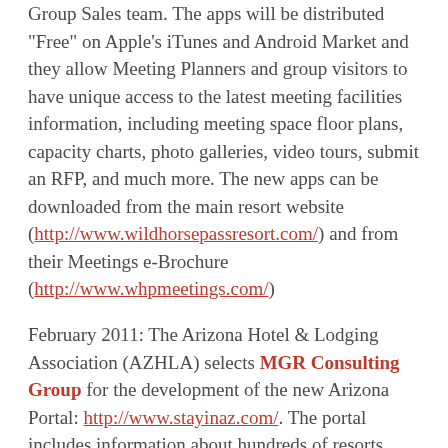Group Sales team. The apps will be distributed "Free" on Apple's iTunes and Android Market and they allow Meeting Planners and group visitors to have unique access to the latest meeting facilities information, including meeting space floor plans, capacity charts, photo galleries, video tours, submit an RFP, and much more. The new apps can be downloaded from the main resort website (http://www.wildhorsepassresort.com/) and from their Meetings e-Brochure (http://www.whpmeetings.com/)
February 2011: The Arizona Hotel & Lodging Association (AZHLA) selects MGR Consulting Group for the development of the new Arizona Portal: http://www.stayinaz.com/. The portal includes information about hundreds of resorts, hotels, motels, cabins, dude ranches, and B&B's that are ready to provide Arizona visitors with unique and memorable experiences. The website is